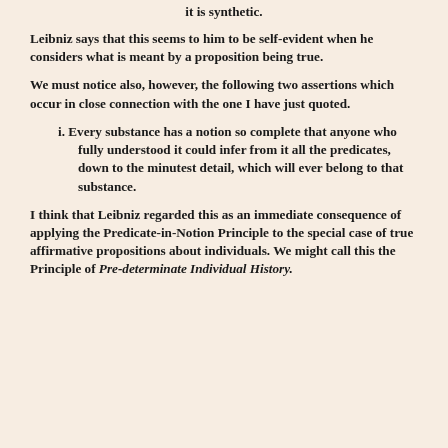it is synthetic.
Leibniz says that this seems to him to be self-evident when he considers what is meant by a proposition being true.
We must notice also, however, the following two assertions which occur in close connection with the one I have just quoted.
i. Every substance has a notion so complete that anyone who fully understood it could infer from it all the predicates, down to the minutest detail, which will ever belong to that substance.
I think that Leibniz regarded this as an immediate consequence of applying the Predicate-in-Notion Principle to the special case of true affirmative propositions about individuals. We might call this the Principle of Pre-determinate Individual History.